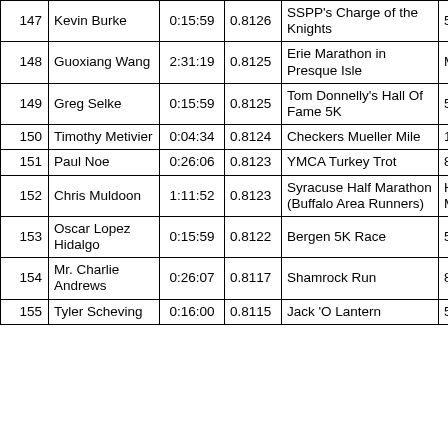| # | Name | Time | Score | Race | Distance |
| --- | --- | --- | --- | --- | --- |
| 147 | Kevin Burke | 0:15:59 | 0.8126 | SSPP's Charge of the Knights | 5K |
| 148 | Guoxiang Wang | 2:31:19 | 0.8125 | Erie Marathon in Presque Isle | Marathon |
| 149 | Greg Selke | 0:15:59 | 0.8125 | Tom Donnelly's Hall Of Fame 5K | 5K |
| 150 | Timothy Metivier | 0:04:34 | 0.8124 | Checkers Mueller Mile | 1 Mile |
| 151 | Paul Noe | 0:26:06 | 0.8123 | YMCA Turkey Trot | 8K |
| 152 | Chris Muldoon | 1:11:52 | 0.8123 | Syracuse Half Marathon (Buffalo Area Runners) | Half Marathon |
| 153 | Oscar Lopez Hidalgo | 0:15:59 | 0.8122 | Bergen 5K Race | 5K |
| 154 | Mr. Charlie Andrews | 0:26:07 | 0.8117 | Shamrock Run | 8K |
| 155 | Tyler Scheving | 0:16:00 | 0.8115 | Jack 'O Lantern | 5K |